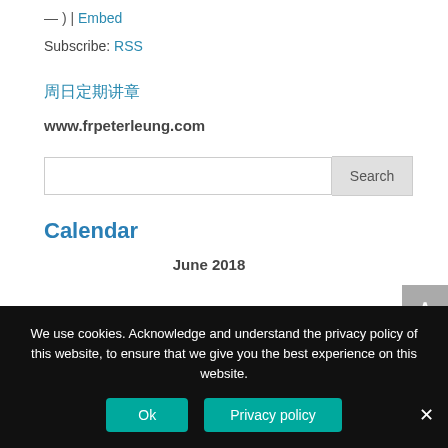— ) | Embed
Subscribe: RSS
xxxxxxxx
www.frpeterleung.com
Search
Calendar
June 2018
We use cookies. Acknowledge and understand the privacy policy of this website, to ensure that we give you the best experience on this website.
Ok
Privacy policy